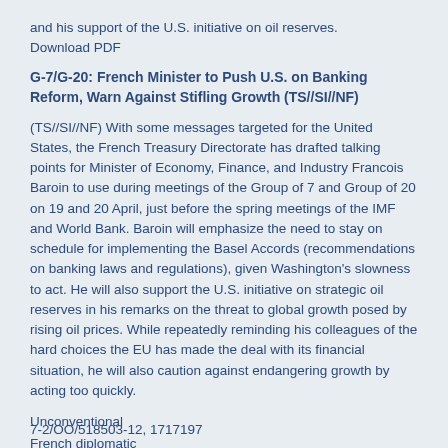and his support of the U.S. initiative on oil reserves.
Download PDF
G-7/G-20: French Minister to Push U.S. on Banking Reform, Warn Against Stifling Growth (TS//SI//NF)
(TS//SI//NF) With some messages targeted for the United States, the French Treasury Directorate has drafted talking points for Minister of Economy, Finance, and Industry Francois Baroin to use during meetings of the Group of 7 and Group of 20 on 19 and 20 April, just before the spring meetings of the IMF and World Bank. Baroin will emphasize the need to stay on schedule for implementing the Basel Accords (recommendations on banking laws and regulations), given Washington's slowness to act. He will also support the U.S. initiative on strategic oil reserves in his remarks on the threat to global growth posed by rising oil prices. While repeatedly reminding his colleagues of the hard choices the EU has made the deal with its financial situation, he will also caution against endangering growth by acting too quickly.
Unconventional
French diplomatic
7-2/OO/518503-12, 1717197